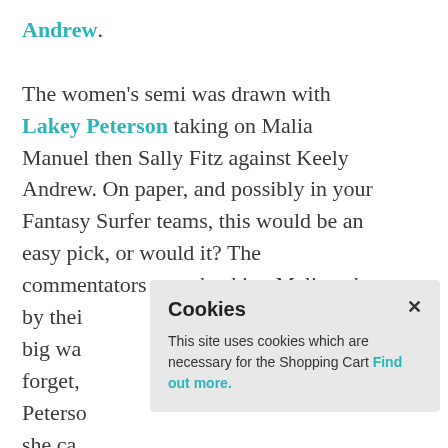Andrew. The women's semi was drawn with Lakey Peterson taking on Malia Manuel then Sally Fitz against Keely Andrew. On paper, and possibly in your Fantasy Surfer teams, this would be an easy pick, or would it? The commentators were backing Malia, who by their... big wa... forget,... Peterso... she ca... She's a... been training down on the raw
Cookies
×
This site uses cookies which are necessary for the Shopping Cart Find out more.